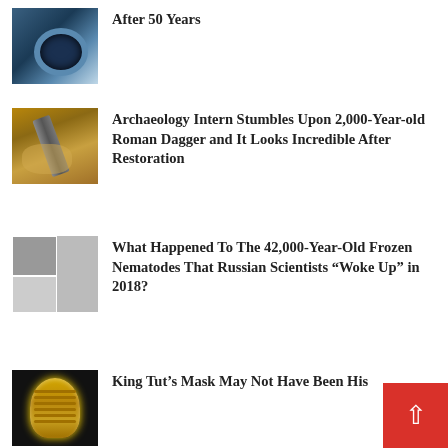[Figure (photo): Circular fossil or eye-like geological feature with blue tones]
After 50 Years
[Figure (photo): Hand holding a rusty ancient Roman dagger artifact in brown/earthy tones]
Archaeology Intern Stumbles Upon 2,000-Year-old Roman Dagger and It Looks Incredible After Restoration
[Figure (photo): Microscope images of nematodes in grayscale grid layout]
What Happened To The 42,000-Year-Old Frozen Nematodes That Russian Scientists “Woke Up” in 2018?
[Figure (photo): King Tutankhamun golden death mask on dark background]
King Tut’s Mask May Not Have Been His